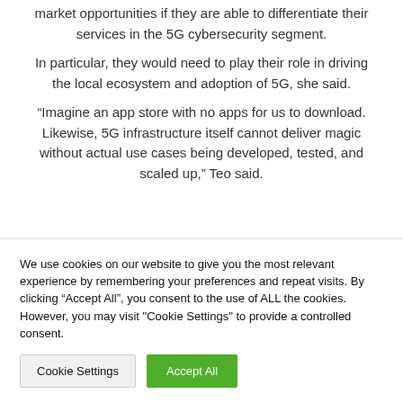market opportunities if they are able to differentiate their services in the 5G cybersecurity segment.
In particular, they would need to play their role in driving the local ecosystem and adoption of 5G, she said.
“Imagine an app store with no apps for us to download. Likewise, 5G infrastructure itself cannot deliver magic without actual use cases being developed, tested, and scaled up,” Teo said.
We use cookies on our website to give you the most relevant experience by remembering your preferences and repeat visits. By clicking “Accept All”, you consent to the use of ALL the cookies. However, you may visit "Cookie Settings" to provide a controlled consent.